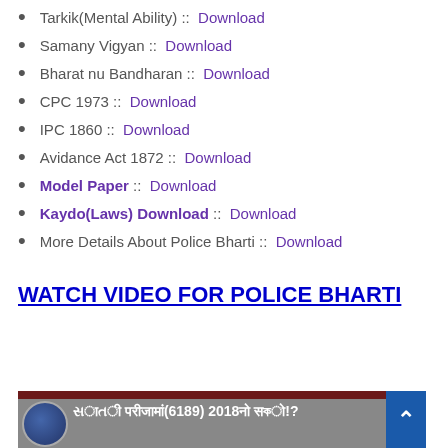Tarkik(Mental Ability) ::  Download
Samany Vigyan ::  Download
Bharat nu Bandharan ::  Download
CPC 1973 ::  Download
IPC 1860 ::  Download
Avidance Act 1872 ::  Download
Model Paper ::  Download
Kaydo(Laws) Download ::  Download
More Details About Police Bharti ::  Download
WATCH VIDEO FOR POLICE BHARTI
[Figure (screenshot): Video thumbnail showing text in Gujarati script with Police Bharti information for 6189 posts in 2018]